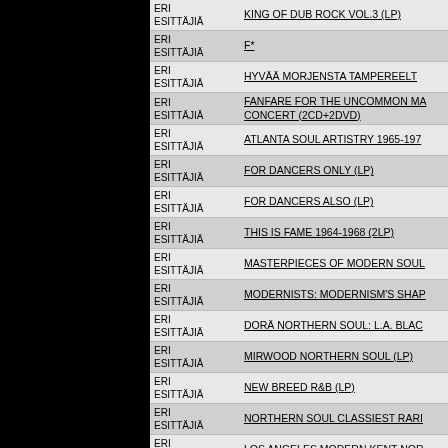| Artist | Title |
| --- | --- |
| ERI ESITTÄJIÄ | KING OF DUB ROCK VOL.3 (LP) |
| ERI ESITTÄJIÄ | F* |
| ERI ESITTÄJIÄ | HYVÄÄ MORJENSTA TAMPEREELT |
| ERI ESITTÄJIÄ | FANFARE FOR THE UNCOMMON MA CONCERT (2CD+2DVD) |
| ERI ESITTÄJIÄ | ATLANTA SOUL ARTISTRY 1965-197 |
| ERI ESITTÄJIÄ | FOR DANCERS ONLY (LP) |
| ERI ESITTÄJIÄ | FOR DANCERS ALSO (LP) |
| ERI ESITTÄJIÄ | THIS IS FAME 1964-1968 (2LP) |
| ERI ESITTÄJIÄ | MASTERPIECES OF MODERN SOUL |
| ERI ESITTÄJIÄ | MODERNISTS: MODERNISM'S SHAP |
| ERI ESITTÄJIÄ | DORÄ NORTHERN SOUL: L.A. BLAC |
| ERI ESITTÄJIÄ | MIRWOOD NORTHERN SOUL (LP) |
| ERI ESITTÄJIÄ | NEW BREED R&B (LP) |
| ERI ESITTÄJIÄ | NORTHERN SOUL CLASSIEST RARI |
| ERI ESITTÄJIÄ | LOS ANGELES MODERN KENT NOR |
| ERI ESITTÄJIÄ | JACK ASHFORD'S JUST PRODUCTI |
| ERI ESITTÄJIÄ | LOWRIDERS ~ SWEET SOUL HARM |
| ERI ESITTÄJIÄ | TAKE ME TO RIVER: A SOUTHERN S |
| ERI ESITTÄJIÄ |  |